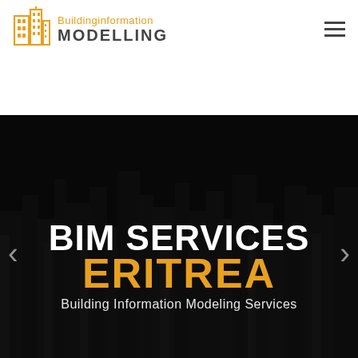[Figure (logo): Building Information Modelling logo with golden building icon and text]
[Figure (screenshot): Website hero slider with dark cityscape background showing BIM SERVICES heading in white bold text, ERITREA in gold bold text below, and subtitle 'Building Information Modeling Services' in white. Left and right navigation arrows visible. Four slider indicator dots at bottom.]